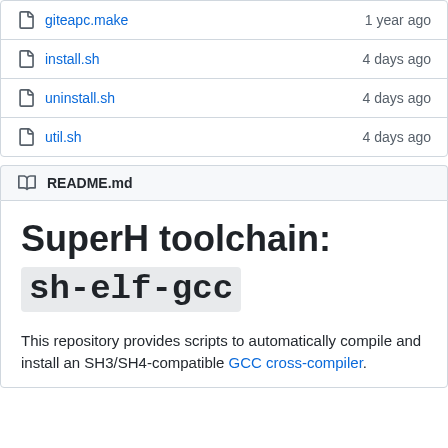| filename | age |
| --- | --- |
| giteapc.make | 1 year ago |
| install.sh | 4 days ago |
| uninstall.sh | 4 days ago |
| util.sh | 4 days ago |
README.md
SuperH toolchain: sh-elf-gcc
This repository provides scripts to automatically compile and install an SH3/SH4-compatible GCC cross-compiler.